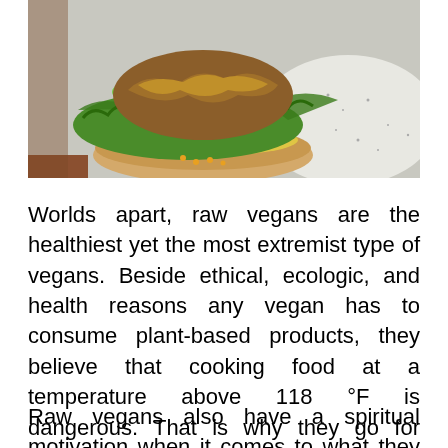[Figure (photo): A veggie burger or plant-based sandwich on a round bun with lettuce and other toppings, served on a white speckled plate.]
Worlds apart, raw vegans are the healthiest yet the most extremist type of vegans. Beside ethical, ecologic, and health reasons any vegan has to consume plant-based products, they believe that cooking food at a temperature above 118 °F is dangerous. That is why they go for fresh, raw ingredients.
Raw vegans also have a spiritual motivation when it comes to what they eat